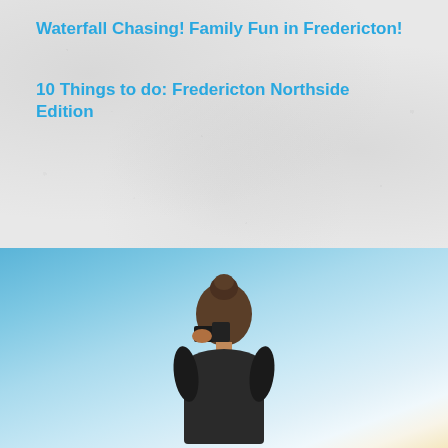Waterfall Chasing!
Family Fun in Fredericton!
10 Things to do: Fredericton Northside Edition
[Figure (photo): Person photographed from behind against a clear blue sky with warm golden horizon, outdoor landscape scene]